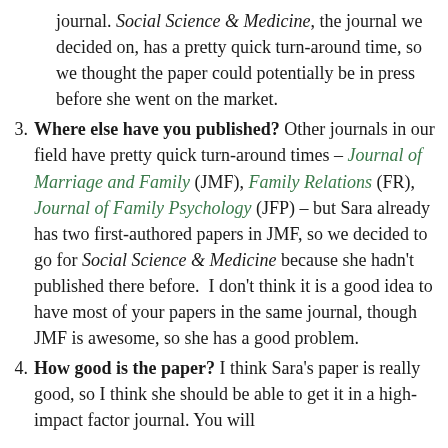journal. Social Science & Medicine, the journal we decided on, has a pretty quick turn-around time, so we thought the paper could potentially be in press before she went on the market.
3. Where else have you published? Other journals in our field have pretty quick turn-around times – Journal of Marriage and Family (JMF), Family Relations (FR), Journal of Family Psychology (JFP) – but Sara already has two first-authored papers in JMF, so we decided to go for Social Science & Medicine because she hadn't published there before. I don't think it is a good idea to have most of your papers in the same journal, though JMF is awesome, so she has a good problem.
4. How good is the paper? I think Sara's paper is really good, so I think she should be able to get it in a high-impact factor journal. You will